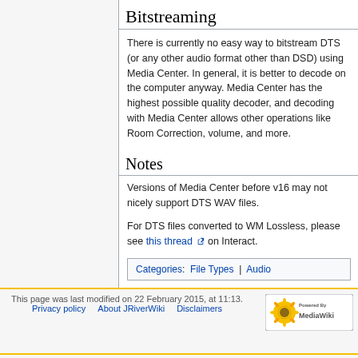Bitstreaming
There is currently no easy way to bitstream DTS (or any other audio format other than DSD) using Media Center. In general, it is better to decode on the computer anyway. Media Center has the highest possible quality decoder, and decoding with Media Center allows other operations like Room Correction, volume, and more.
Notes
Versions of Media Center before v16 may not nicely support DTS WAV files.
For DTS files converted to WM Lossless, please see this thread on Interact.
Categories: File Types | Audio
This page was last modified on 22 February 2015, at 11:13. Privacy policy About JRiverWiki Disclaimers